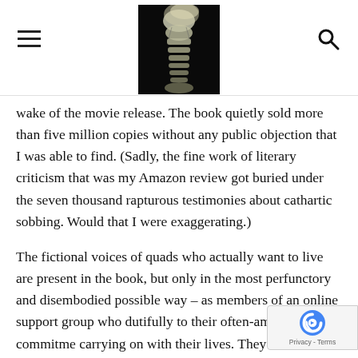[Navigation header with hamburger menu, spine X-ray logo image, and search icon]
wake of the movie release. The book quietly sold more than five million copies without any public objection that I was able to find. (Sadly, the fine work of literary criticism that was my Amazon review got buried under the seven thousand rapturous testimonies about cathartic sobbing. Would that I were exaggerating.)
The fictional voices of quads who actually want to live are present in the book, but only in the most perfunctory and disembodied possible way – as members of an online support group who dutifully to their often-ambivalent commitme carrying on with their lives. They are mere